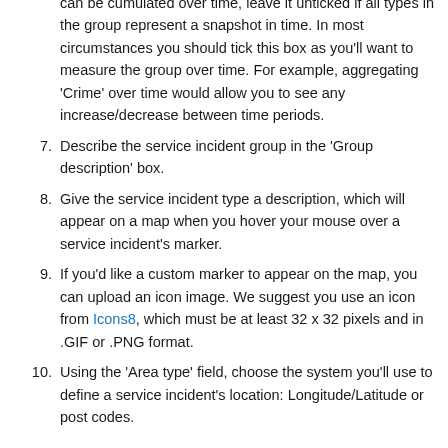(continuation) can be cumulated over time, leave it unticked if all types in the group represent a snapshot in time. In most circumstances you should tick this box as you'll want to measure the group over time. For example, aggregating 'Crime' over time would allow you to see any increase/decrease between time periods.
7. Describe the service incident group in the 'Group description' box.
8. Give the service incident type a description, which will appear on a map when you hover your mouse over a service incident's marker.
9. If you'd like a custom marker to appear on the map, you can upload an icon image. We suggest you use an icon from Icons8, which must be at least 32 x 32 pixels and in .GIF or .PNG format.
10. Using the 'Area type' field, choose the system you'll use to define a service incident's location: Longitude/Latitude or post codes.